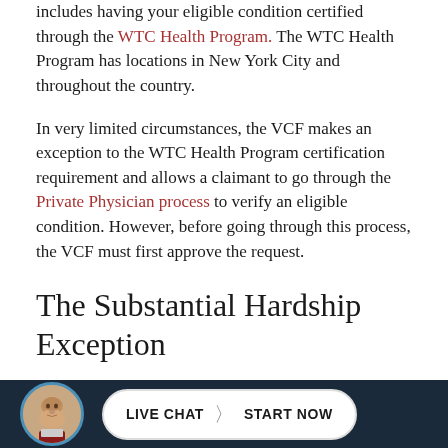includes having your eligible condition certified through the WTC Health Program. The WTC Health Program has locations in New York City and throughout the country.
In very limited circumstances, the VCF makes an exception to the WTC Health Program certification requirement and allows a claimant to go through the Private Physician process to verify an eligible condition. However, before going through this process, the VCF must first approve the request.
The Substantial Hardship Exception
Althou... WTC Health...
[Figure (photo): Avatar photo of a man in a suit, displayed in a circular frame at the bottom bar]